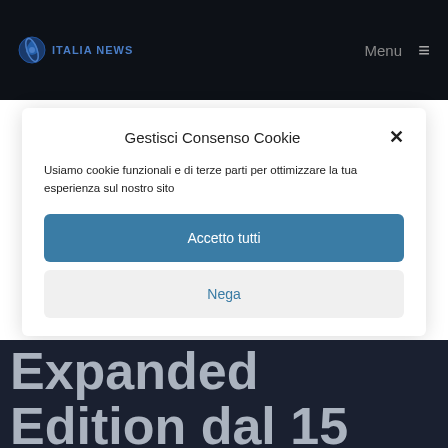ITALIA NEWS  Menu ≡
Gestisci Consenso Cookie
Usiamo cookie funzionali e di terze parti per ottimizzare la tua esperienza sul nostro sito
Accetto tutti
Nega
Expanded Edition dal 15